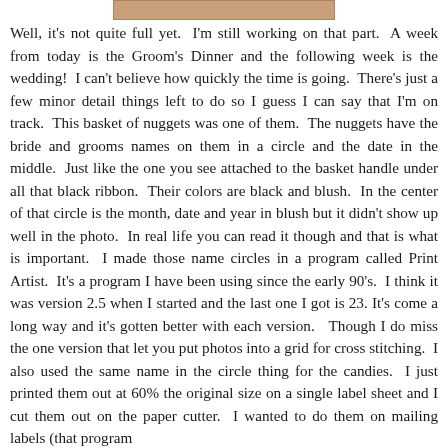[Figure (photo): Partial image visible at top of page, appears to be a cropped photo strip in brownish/tan color]
Well, it's not quite full yet.  I'm still working on that part.  A week from today is the Groom's Dinner and the following week is the wedding!  I can't believe how quickly the time is going.  There's just a few minor detail things left to do so I guess I can say that I'm on track.  This basket of nuggets was one of them.  The nuggets have the bride and grooms names on them in a circle and the date in the middle.  Just like the one you see attached to the basket handle under all that black ribbon.  Their colors are black and blush.  In the center of that circle is the month, date and year in blush but it didn't show up well in the photo.  In real life you can read it though and that is what is important.  I made those name circles in a program called Print Artist.  It's a program I have been using since the early 90's.  I think it was version 2.5 when I started and the last one I got is 23. It's come a long way and it's gotten better with each version.   Though I do miss the one version that let you put photos into a grid for cross stitching.  I also used the same name in the circle thing for the candies.  I just printed them out at 60% the original size on a single label sheet and I cut them out on the paper cutter.  I wanted to do them on mailing labels (that program